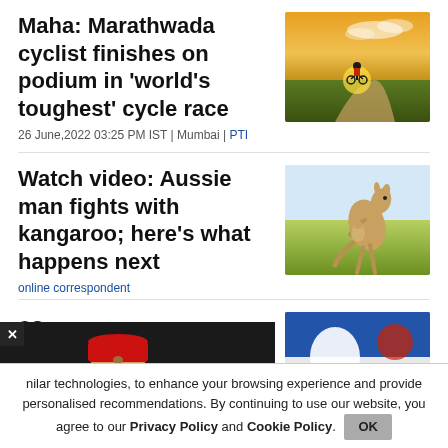Maha: Marathwada cyclist finishes on podium in 'world's toughest' cycle race
[Figure (photo): Silhouette of a cyclist riding on a path at sunset with golden sky and fields]
26 June,2022 03:25 PM IST | Mumbai | PTI
Watch video: Aussie man fights with kangaroo; here's what happens next
[Figure (photo): Kangaroo with joey on green grass field]
online correspondent
[Figure (photo): Popup image of a politician in red cap gesturing at a press conference]
os
[Figure (photo): Partial mountain landscape image with blue sky]
nilar technologies, to enhance your browsing experience and provide personalised recommendations. By continuing to use our website, you agree to our Privacy Policy and Cookie Policy.
OK